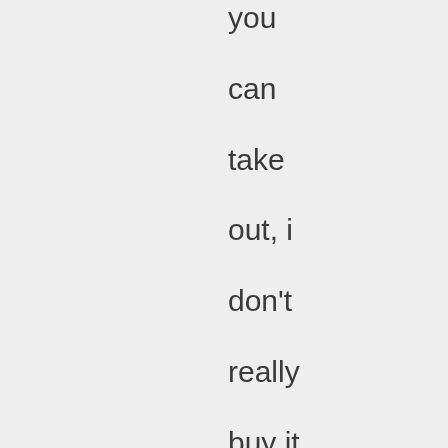you can take out, i don't really buy it (but you already knew that), but the arguments